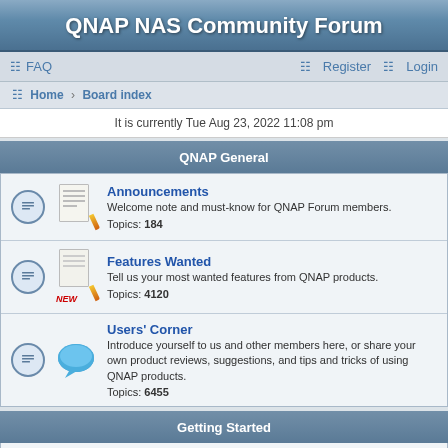QNAP NAS Community Forum
FAQ   Register   Login
Home › Board index
It is currently Tue Aug 23, 2022 11:08 pm
QNAP General
Announcements
Welcome note and must-know for QNAP Forum members.
Topics: 184
Features Wanted
Tell us your most wanted features from QNAP products.
Topics: 4120
Users' Corner
Introduce yourself to us and other members here, or share your own product reviews, suggestions, and tips and tricks of using QNAP products.
Topics: 6455
Getting Started
Frequently Asked Questions
Topics: 17